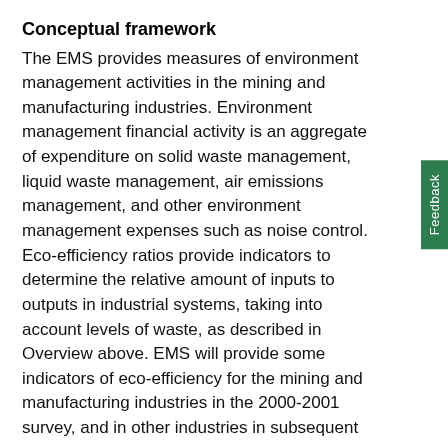Conceptual framework
The EMS provides measures of environment management activities in the mining and manufacturing industries. Environment management financial activity is an aggregate of expenditure on solid waste management, liquid waste management, air emissions management, and other environment management expenses such as noise control. Eco-efficiency ratios provide indicators to determine the relative amount of inputs to outputs in industrial systems, taking into account levels of waste, as described in Overview above. EMS will provide some indicators of eco-efficiency for the mining and manufacturing industries in the 2000-2001 survey, and in other industries in subsequent surveys.
Main outputs